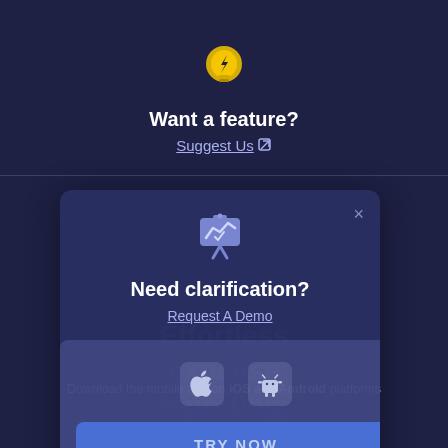[Figure (illustration): Yellow lightbulb icon with lightning bolt]
Want a feature?
Suggest Us ↗
[Figure (illustration): Modal dialog with presentation/chart board icon, titled 'Need clarification?' with 'Request A Demo' link, app store icons, and TRY NOW button]
Need clarification?
Request A Demo
Effortless expense reporting, guaranteed.
Download the mobile app on iOS and Android platforms
TRY NOW
Learn how Zoho Expense helps with your own expense tracking